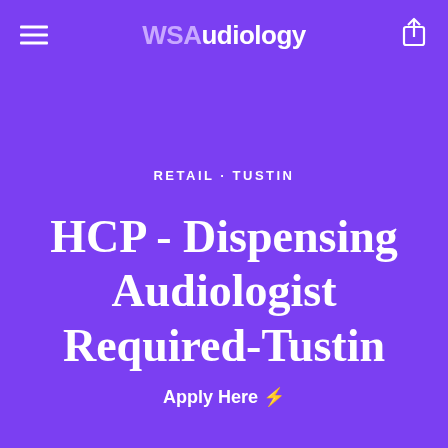WSAudiology
RETAIL · TUSTIN
HCP - Dispensing Audiologist Required-Tustin
Apply Here ⚡